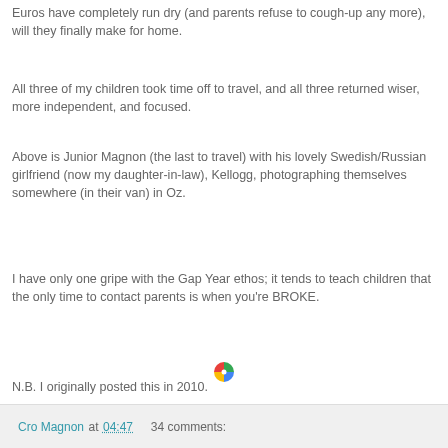Euros have completely run dry (and parents refuse to cough-up any more), will they finally make for home.
All three of my children took time off to travel, and all three returned wiser, more independent, and focused.
Above is Junior Magnon (the last to travel) with his lovely Swedish/Russian girlfriend (now my daughter-in-law), Kellogg, photographing themselves somewhere (in their van) in Oz.
I have only one gripe with the Gap Year ethos; it tends to teach children that the only time to contact parents is when you're BROKE.
N.B. I originally posted this in 2010.
[Figure (logo): Colorful pinwheel/windmill logo icon in red, green, blue, yellow quadrants]
Cro Magnon at 04:47   34 comments: